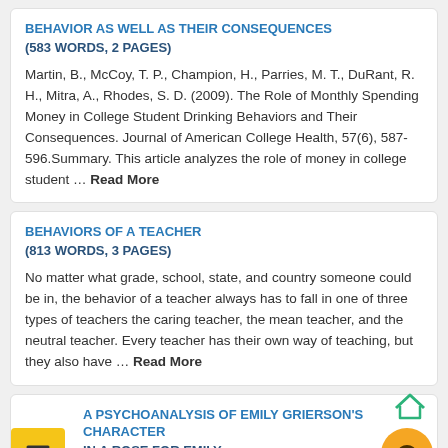BEHAVIOR AS WELL AS THEIR CONSEQUENCES (583 WORDS, 2 PAGES)
Martin, B., McCoy, T. P., Champion, H., Parries, M. T., DuRant, R. H., Mitra, A., Rhodes, S. D. (2009). The Role of Monthly Spending Money in College Student Drinking Behaviors and Their Consequences. Journal of American College Health, 57(6), 587-596.Summary. This article analyzes the role of money in college student ... Read More
BEHAVIORS OF A TEACHER (813 WORDS, 3 PAGES)
No matter what grade, school, state, and country someone could be in, the behavior of a teacher always has to fall in one of three types of teachers the caring teacher, the mean teacher, and the neutral teacher. Every teacher has their own way of teaching, but they also have ... Read More
A PSYCHOANALYSIS OF EMILY GRIERSON'S CHARACTER IN A ROSE FOR EMILY